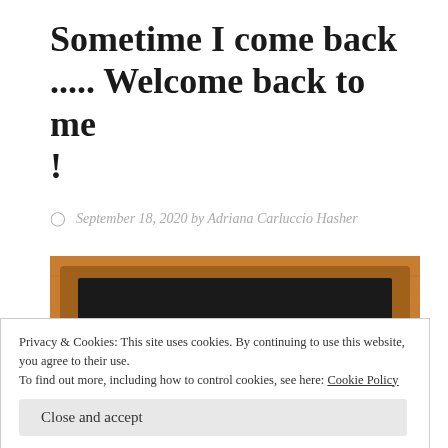Sometime I come back ..... Welcome back to me !
September 18, 2020 by Adriana Carluccio Hasher
[Figure (photo): A chalkboard sign with chalk lettering reading 'WELCOME', framed in wood, against a wooden background.]
Privacy & Cookies: This site uses cookies. By continuing to use this website, you agree to their use.
To find out more, including how to control cookies, see here: Cookie Policy
Close and accept